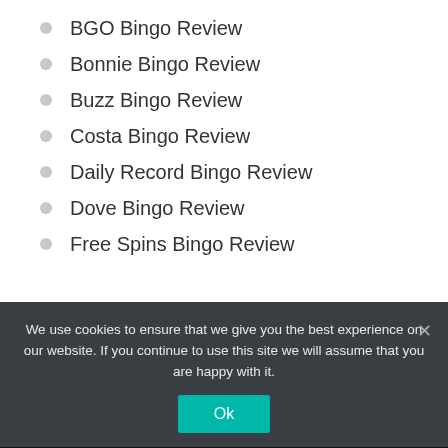BGO Bingo Review
Bonnie Bingo Review
Buzz Bingo Review
Costa Bingo Review
Daily Record Bingo Review
Dove Bingo Review
Free Spins Bingo Review
We use cookies to ensure that we give you the best experience on our website. If you continue to use this site we will assume that you are happy with it.
Best Bingo Sites | New Bingo Sites | Free Bingo Sites | Mobile Bingo Sites